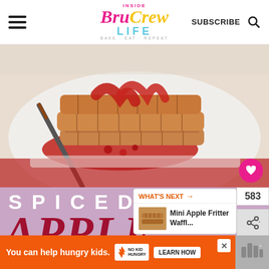Inside BruCrew Life – BAKE. EAT. REPEAT.
[Figure (photo): Stack of spiced apple waffles topped with red berry/strawberry sauce on a white plate, with a knife and red placemat beneath]
SPICED APPLE WAFFLES
[Figure (screenshot): What's Next popup showing Mini Apple Fritter Waffl... with thumbnail image]
[Figure (infographic): Ad banner: You can help hungry kids. No Kid Hungry – LEARN HOW]